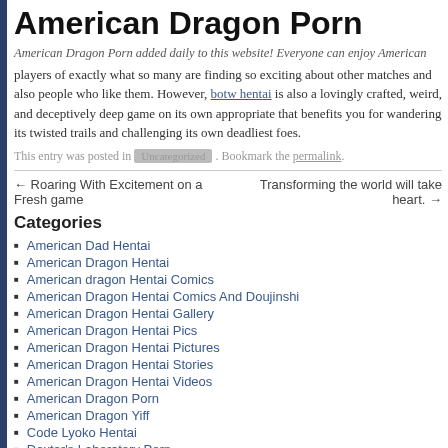American Dragon Porn
American Dragon Porn added daily to this website! Everyone can enjoy American players of exactly what so many are finding so exciting about other matches and also people who like them. However, botw hentai is also a lovingly crafted, weird, and deceptively deep game on its own appropriate that benefits you for wandering its twisted trails and challenging its own deadliest foes.
This entry was posted in Uncategorized . Bookmark the permalink.
← Roaring With Excitement on a Fresh game | Transforming the world will take heart. →
Categories
American Dad Hentai
American Dragon Hentai
American dragon Hentai Comics
American Dragon Hentai Comics And Doujinshi
American Dragon Hentai Gallery
American Dragon Hentai Pics
American Dragon Hentai Pictures
American Dragon Hentai Stories
American Dragon Hentai Videos
American Dragon Porn
American Dragon Yiff
Code Lyoko Hentai
Dexter's Laboratory Porn